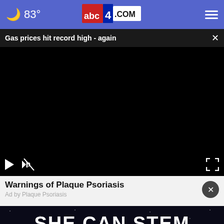🌙 83° abc4.com
Gas prices hit record high - again
[Figure (screenshot): Black video player area with play button, mute button, and expand button controls at the bottom]
Warnings of Plaque Psoriasis
Ad by Plaque Psoriasis
[Figure (photo): Dark banner advertisement with text SHE CAN STEM in large bold white letters against a dark starry background]